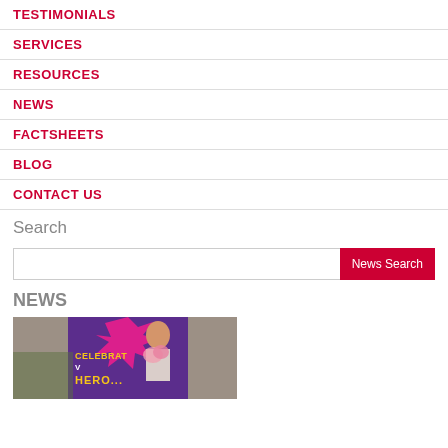TESTIMONIALS
SERVICES
RESOURCES
NEWS
FACTSHEETS
BLOG
CONTACT US
Search
News Search
NEWS
[Figure (photo): A person holding flowers in front of a purple banner with text 'CELEBRATE VO... HERO...' against a brick wall background]